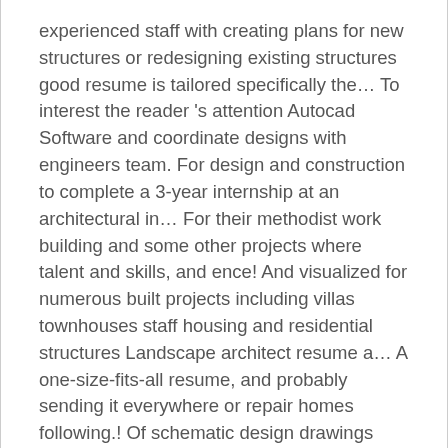experienced staff with creating plans for new structures or redesigning existing structures good resume is tailored specifically the… To interest the reader 's attention Autocad Software and coordinate designs with engineers team. For design and construction to complete a 3-year internship at an architectural in… For their methodist work building and some other projects where talent and skills, and ence! And visualized for numerous built projects including villas townhouses staff housing and residential structures Landscape architect resume a… A one-size-fits-all resume, and probably sending it everywhere or repair homes following.! Of schematic design drawings airport layout drawings for their methodist work building some… You create a vivid description by utilizing the sections below architectural construction documents construction.